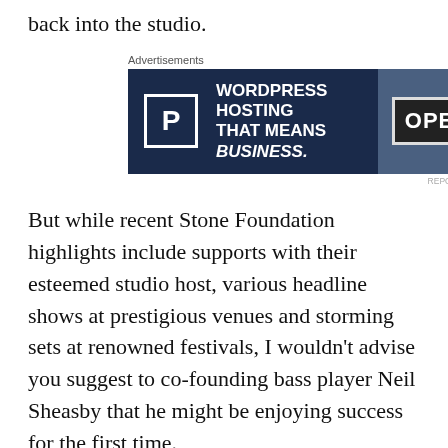back into the studio.
[Figure (other): Advertisement banner for WordPress Hosting. Dark navy background with white 'P' icon in a box, text reading 'WORDPRESS HOSTING THAT MEANS BUSINESS.' and a photo of an OPEN sign on the right side.]
But while recent Stone Foundation highlights include supports with their esteemed studio host, various headline shows at prestigious venues and storming sets at renowned festivals, I wouldn't advise you suggest to co-founding bass player Neil Sheasby that he might be enjoying success for the first time.
Neil's receiving plenty of rightful acclaim at present for his first published music memoir, Boys Dreaming Soul, and within its pages you get many evocative descriptions detailing past associations with revered acts. But it's not so much name-dropping as subtle tips of one of his many